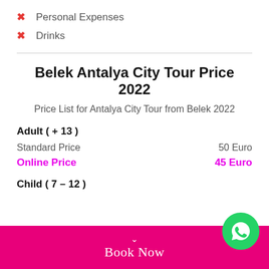Personal Expenses
Drinks
Belek Antalya City Tour Price 2022
Price List for Antalya City Tour from Belek 2022
Adult ( + 13 )
Standard Price    50 Euro
Online Price    45 Euro
Child ( 7 – 12 )
Book Now